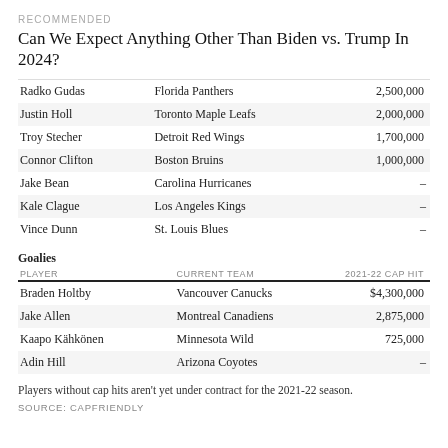RECOMMENDED
Can We Expect Anything Other Than Biden vs. Trump In 2024?
| PLAYER | CURRENT TEAM | 2021-22 CAP HIT |
| --- | --- | --- |
| Radko Gudas | Florida Panthers | 2,500,000 |
| Justin Holl | Toronto Maple Leafs | 2,000,000 |
| Troy Stecher | Detroit Red Wings | 1,700,000 |
| Connor Clifton | Boston Bruins | 1,000,000 |
| Jake Bean | Carolina Hurricanes | – |
| Kale Clague | Los Angeles Kings | – |
| Vince Dunn | St. Louis Blues | – |
Goalies
| PLAYER | CURRENT TEAM | 2021-22 CAP HIT |
| --- | --- | --- |
| Braden Holtby | Vancouver Canucks | $4,300,000 |
| Jake Allen | Montreal Canadiens | 2,875,000 |
| Kaapo Kähkönen | Minnesota Wild | 725,000 |
| Adin Hill | Arizona Coyotes | – |
Players without cap hits aren't yet under contract for the 2021-22 season.
SOURCE: CAPFRIENDLY